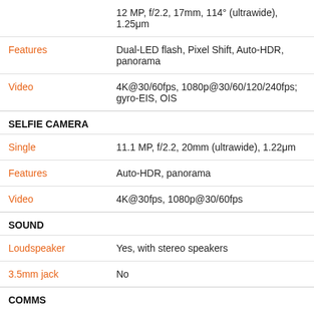|  | 12 MP, f/2.2, 17mm, 114° (ultrawide), 1.25μm |
| Features | Dual-LED flash, Pixel Shift, Auto-HDR, panorama |
| Video | 4K@30/60fps, 1080p@30/60/120/240fps; gyro-EIS, OIS |
SELFIE CAMERA
| Single | 11.1 MP, f/2.2, 20mm (ultrawide), 1.22μm |
| Features | Auto-HDR, panorama |
| Video | 4K@30fps, 1080p@30/60fps |
SOUND
| Loudspeaker | Yes, with stereo speakers |
| 3.5mm jack | No |
COMMS